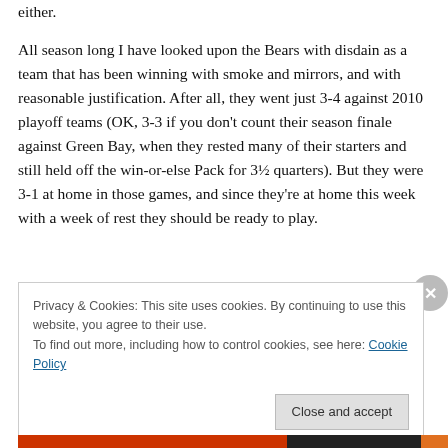either.
All season long I have looked upon the Bears with disdain as a team that has been winning with smoke and mirrors, and with reasonable justification. After all, they went just 3-4 against 2010 playoff teams (OK, 3-3 if you don't count their season finale against Green Bay, when they rested many of their starters and still held off the win-or-else Pack for 3½ quarters). But they were 3-1 at home in those games, and since they're at home this week with a week of rest they should be ready to play.
Privacy & Cookies: This site uses cookies. By continuing to use this website, you agree to their use.
To find out more, including how to control cookies, see here: Cookie Policy
Close and accept